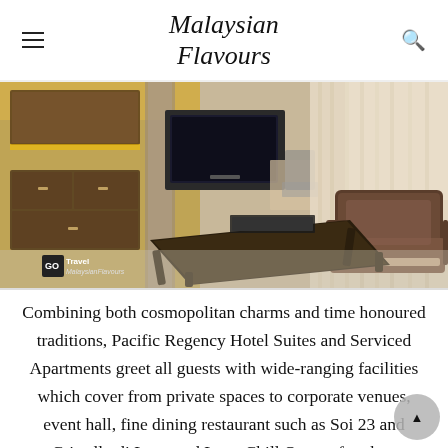Malaysian Flavours
[Figure (photo): Hotel suite interior showing a living area with a dark wooden coffee table, an armchair/sofa, a television unit, kitchen cabinetry on the left with warm lighting, a dining table and chair in the background, and floor-to-ceiling sheer curtains on the right. Patterned carpet on the floor. A watermark reads 'GO Travel MalaysianFlavours'.]
Combining both cosmopolitan charms and time honoured traditions, Pacific Regency Hotel Suites and Serviced Apartments greet all guests with wide-ranging facilities which cover from private spaces to corporate venues, event hall, fine dining restaurant such as Soi 23 and Cristallo di Luna and Luna Chill Out rooftop bar.